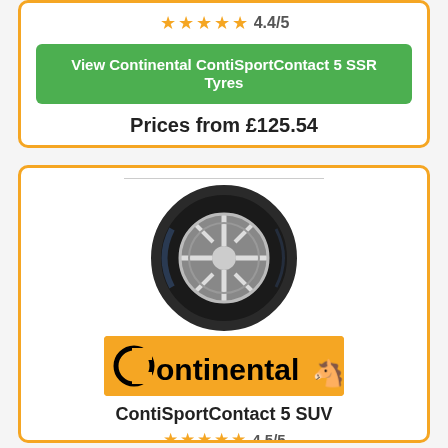4.4/5 stars
View Continental ContiSportContact 5 SSR Tyres
Prices from £125.54
[Figure (photo): Continental ContiSportContact 5 SUV tyre product image with alloy wheel visible]
[Figure (logo): Continental brand logo on orange background with horse emblem]
ContiSportContact 5 SUV
4.5/5 stars (partially visible)